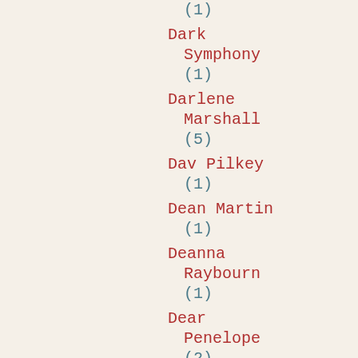(1)
Dark Symphony (1)
Darlene Marshall (5)
Dav Pilkey (1)
Dean Martin (1)
Deanna Raybourn (1)
Dear Penelope (2)
Death by